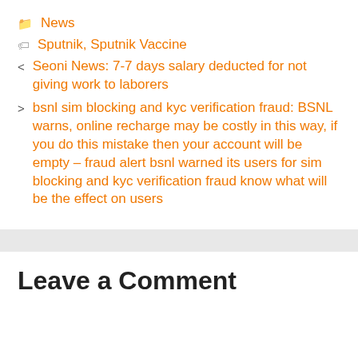News
Sputnik, Sputnik Vaccine
< Seoni News: 7-7 days salary deducted for not giving work to laborers
> bsnl sim blocking and kyc verification fraud: BSNL warns, online recharge may be costly in this way, if you do this mistake then your account will be empty – fraud alert bsnl warned its users for sim blocking and kyc verification fraud know what will be the effect on users
Leave a Comment